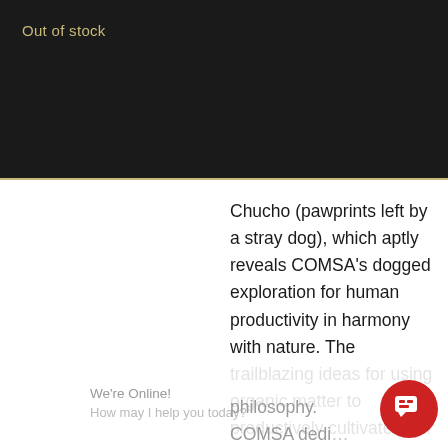Out of stock
Chucho (pawprints left by a stray dog), which aptly reveals COMSA’s dogged exploration for human productivity in harmony with nature. The trailblazing ideas for using organic matter to productively cultivate high quality coffee is only a sliver of what COMSA teaches about the power of nature through the Finca Hum… philosophy. COMSA dedi…
We’re Online!
How may I help you today?